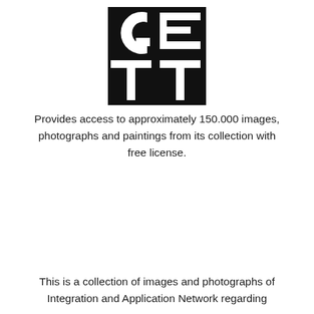[Figure (logo): Getty logo — black square geometric block logo with letters G, E, T, T, Y arranged in a bold stylized grid pattern]
Provides access to approximately 150.000 images, photographs and paintings from its collection with free license.
This is a collection of images and photographs of Integration and Application Network regarding the connection between species in University of Maryland.